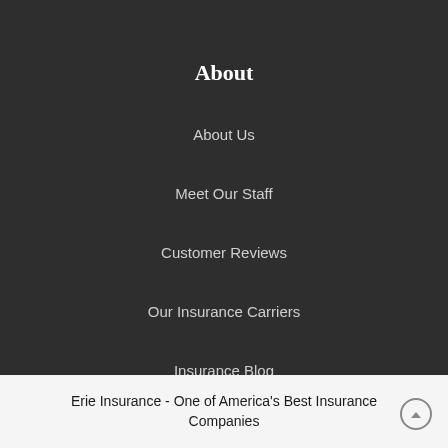About
About Us
Meet Our Staff
Customer Reviews
Our Insurance Carriers
Insurance Blog
Erie Insurance - One of America's Best Insurance Companies